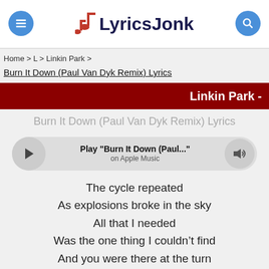LyricsJonk
Home > L > Linkin Park >
Burn It Down (Paul Van Dyk Remix) Lyrics
Linkin Park -
Burn It Down (Paul Van Dyk Remix) Lyrics
Play "Burn It Down (Paul..." on Apple Music
The cycle repeated
As explosions broke in the sky
All that I needed
Was the one thing I couldn't find
And you were there at the turn